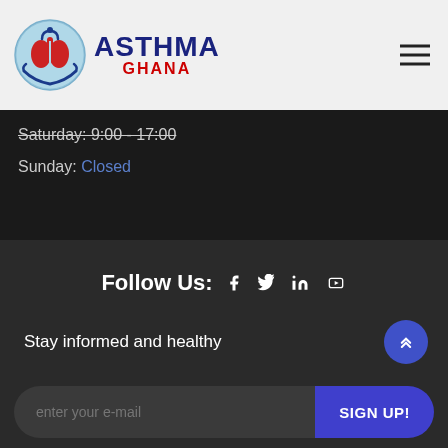[Figure (logo): Asthma Ghana logo with circular emblem featuring lungs, hands, and stethoscope in blue and red colors]
Saturday: 9:00 - 17:00
Sunday: Closed
Follow Us:
[Figure (other): Social media icons: Facebook, Twitter, LinkedIn, YouTube]
Stay informed and healthy
enter your e-mail
SIGN UP!